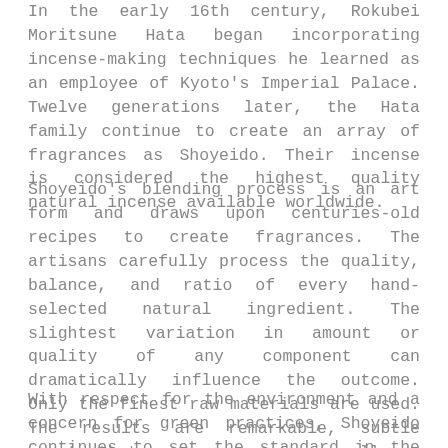In the early 16th century, Rokubei Moritsune Hata began incorporating incense-making techniques he learned as an employee of Kyoto's Imperial Palace. Twelve generations later, the Hata family continue to create an array of fragrances as Shoyeido. Their incense is considered the highest quality natural incense available worldwide.
Shoyeido's blending process is an art form and draws upon centuries-old recipes to create fragrances. The artisans carefully process the quality, balance, and ratio of every hand-selected natural ingredient. The slightest variation in amount or quality of any component can dramatically influence the outcome. Only the finest raw materials are used. The results are remarkable, subtle scents that encourage us to use all our senses mon-koh, or "listening to incense."
With respect for the environment and a concern for green practices, Shoyeido continues to set the standard in the fragrance industry. They have